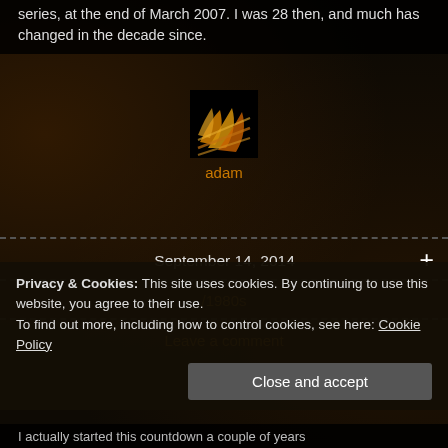series, at the end of March 2007. I was 28 then, and much has changed in the decade since.
[Figure (illustration): Small avatar/logo image with orange flame-like streaks on dark background, labeled 'adam' below in orange text]
September 14, 2014
/1980s
Leave a comment
Privacy & Cookies: This site uses cookies. By continuing to use this website, you agree to their use.
To find out more, including how to control cookies, see here: Cookie Policy
Close and accept
I actually started this countdown a couple of years